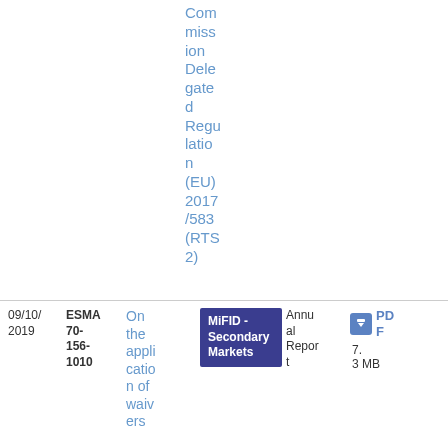Commission Delegated Regulation (EU) 2017/583 (RTS 2)
09/10/2019
ESMA 70-156-1010
On the application of waivers
MiFID - Secondary Markets
Annual Report
PDF 7.3 MB